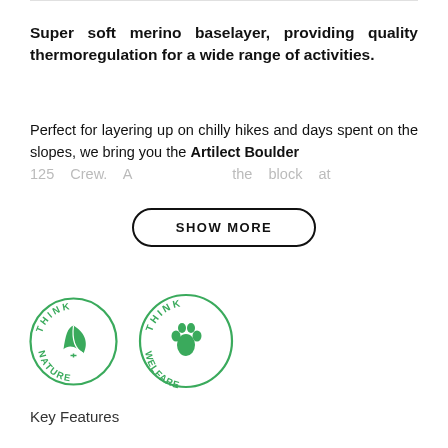Super soft merino baselayer, providing quality thermoregulation for a wide range of activities.
Perfect for layering up on chilly hikes and days spent on the slopes, we bring you the Artilect Boulder 125 Crew. A ... the block at
[Figure (other): SHOW MORE button with rounded pill border]
[Figure (logo): Two circular green badges: THINK NATURE with leaf icon, and THINK WELFARE with paw print icon]
Key Features